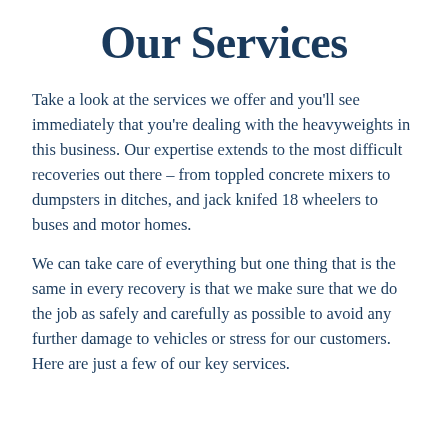Our Services
Take a look at the services we offer and you'll see immediately that you're dealing with the heavyweights in this business. Our expertise extends to the most difficult recoveries out there – from toppled concrete mixers to dumpsters in ditches, and jack knifed 18 wheelers to buses and motor homes.
We can take care of everything but one thing that is the same in every recovery is that we make sure that we do the job as safely and carefully as possible to avoid any further damage to vehicles or stress for our customers. Here are just a few of our key services.